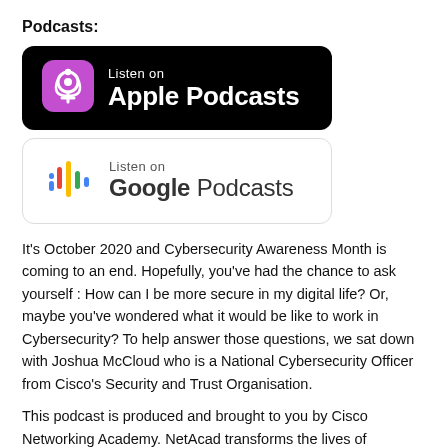Podcasts:
[Figure (logo): Listen on Apple Podcasts badge — black rounded rectangle with purple podcast icon and white text]
[Figure (logo): Listen on Google Podcasts badge — white rounded rectangle with Google Podcasts icon and grey/black text]
It's October 2020 and Cybersecurity Awareness Month is coming to an end. Hopefully, you've had the chance to ask yourself : How can I be more secure in my digital life? Or, maybe you've wondered what it would be like to work in Cybersecurity? To help answer those questions, we sat down with Joshua McCloud who is a National Cybersecurity Officer from Cisco's Security and Trust Organisation.
This podcast is produced and brought to you by Cisco Networking Academy. NetAcad transforms the lives of learners, educators and communities through the power of technology, education and